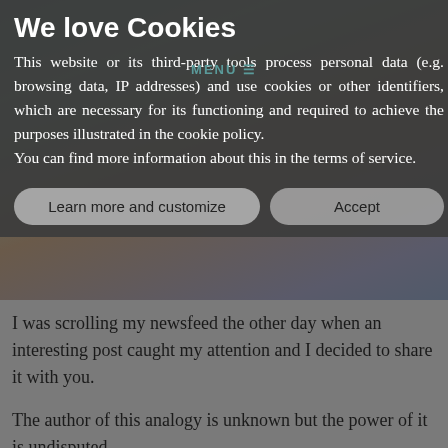[Figure (screenshot): Cookie consent overlay on a website. Dark semi-transparent modal with title 'We love Cookies', body text about data processing, and two buttons: 'Learn more and customize' and 'Accept'. Background shows a photo of a person with arms raised.]
We love Cookies
This website or its third-party tools process personal data (e.g. browsing data, IP addresses) and use cookies or other identifiers, which are necessary for its functioning and required to achieve the purposes illustrated in the cookie policy. You can find more information about this in the terms of service.
I was scrolling my newsfeed the other day when an interesting post caught my attention and I decided to share it with you.
The author of this analogy is unknown but the power of it is undisputed.
Imagine that you won the following prize in a contest: Each morning your bank would deposit